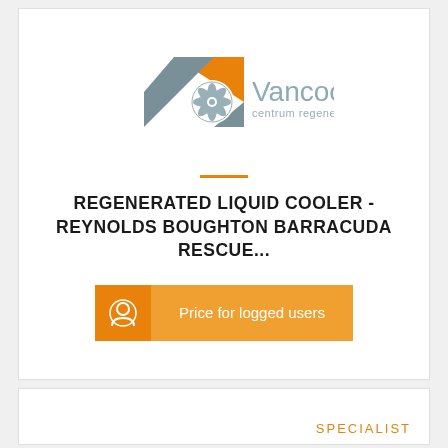[Figure (logo): Vancooler logo with orange triangle, grey gear/fan icon, and text 'Vancooler centrum regeneracji chłodnic']
REGENERATED LIQUID COOLER - REYNOLDS BOUGHTON BARRACUDA RESCUE...
[Figure (other): Orange button with user icon and 'Price for logged users' text]
SPECIALIST